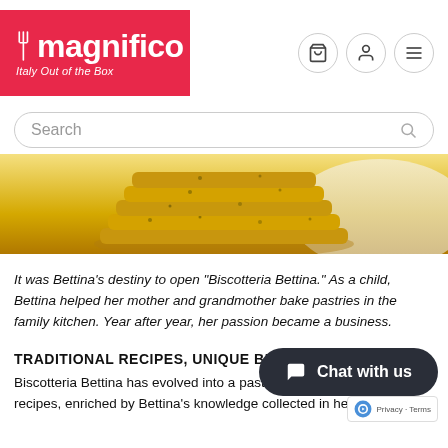[Figure (logo): Magnifico logo — red background with fork icon, bold white text 'magnifico', italic subtitle 'Italy Out of the Box']
Search
[Figure (photo): Stacked yellow-green biscotti/cookies on a white plate, viewed from slight angle]
It was Bettina’s destiny to open “Biscotteria Bettina.” As a child, Bettina helped her mother and grandmother bake pastries in the family kitchen. Year after year, her passion became a business.
TRADITIONAL RECIPES, UNIQUE BISCUIT…
Biscotteria Bettina has evolved into a pastry shop… traditional recipes, enriched by Bettina's knowledge collected in her…